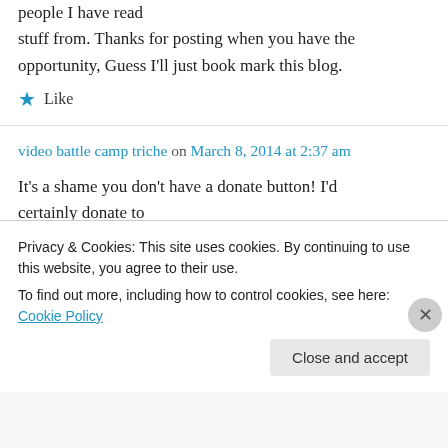people I have read stuff from. Thanks for posting when you have the opportunity, Guess I'll just book mark this blog.
★ Like
video battle camp triche on March 8, 2014 at 2:37 am
It's a shame you don't have a donate button! I'd certainly donate to this superb blog! I suppose for now i'll settle for bookmarking
Privacy & Cookies: This site uses cookies. By continuing to use this website, you agree to their use.
To find out more, including how to control cookies, see here: Cookie Policy
Close and accept